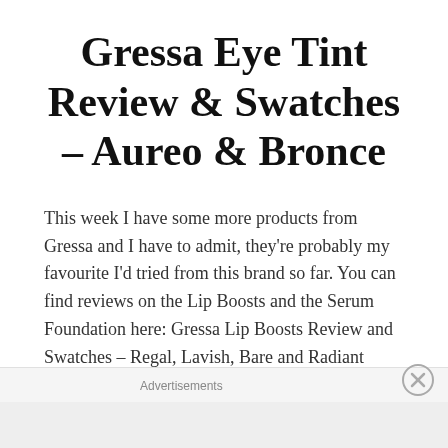Gressa Eye Tint Review & Swatches – Aureo & Bronce
This week I have some more products from Gressa and I have to admit, they're probably my favourite I'd tried from this brand so far. You can find reviews on the Lip Boosts and the Serum Foundation here: Gressa Lip Boosts Review and Swatches – Regal, Lavish, Bare and Radiant Gressa Beauty Minimalist Correcting Serum...
Advertisements